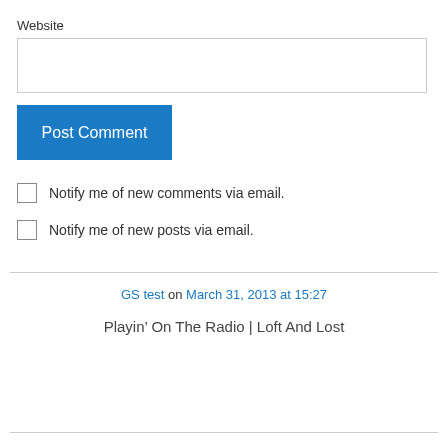Website
[Figure (screenshot): Website input text field (empty)]
[Figure (screenshot): Post Comment button (blue)]
Notify me of new comments via email.
Notify me of new posts via email.
GS test on March 31, 2013 at 15:27
Playin’ On The Radio | Loft And Lost